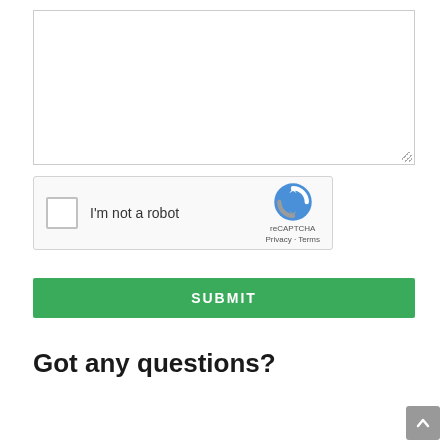[Figure (screenshot): Empty textarea input box with resize handle in bottom-right corner]
[Figure (screenshot): reCAPTCHA widget with checkbox labeled 'I'm not a robot' and reCAPTCHA logo with Privacy and Terms links]
[Figure (screenshot): Green SUBMIT button]
Got any questions?